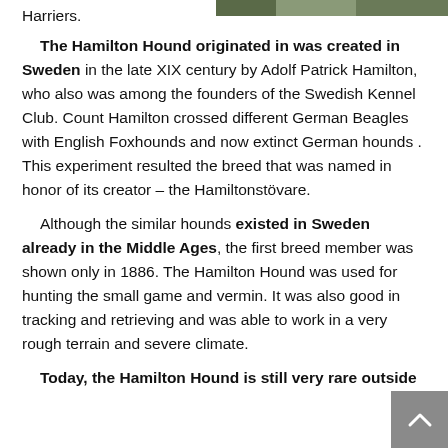[Figure (photo): Partial photo of a dog visible in upper right corner of page]
Harriers.
The Hamilton Hound originated in was created in Sweden in the late XIX century by Adolf Patrick Hamilton, who also was among the founders of the Swedish Kennel Club. Count Hamilton crossed different German Beagles with English Foxhounds and now extinct German hounds . This experiment resulted the breed that was named in honor of its creator – the Hamiltonstövare.
Although the similar hounds existed in Sweden already in the Middle Ages, the first breed member was shown only in 1886. The Hamilton Hound was used for hunting the small game and vermin. It was also good in tracking and retrieving and was able to work in a very rough terrain and severe climate.
Today, the Hamilton Hound is still very rare outside